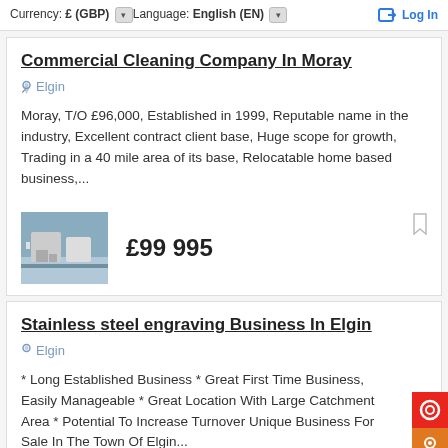Currency: £ (GBP) ▾  Language: English (EN) ▾  Log In
Commercial Cleaning Company In Moray
Elgin
Moray, T/O £96,000, Established in 1999, Reputable name in the industry, Excellent contract client base, Huge scope for growth, Trading in a 40 mile area of its base, Relocatable home based business,...
£99 995
Stainless steel engraving Business In Elgin
Elgin
* Long Established Business * Great First Time Business, Easily Manageable * Great Location With Large Catchment Area * Potential To Increase Turnover Unique Business For Sale In The Town Of Elgin...
£450 000